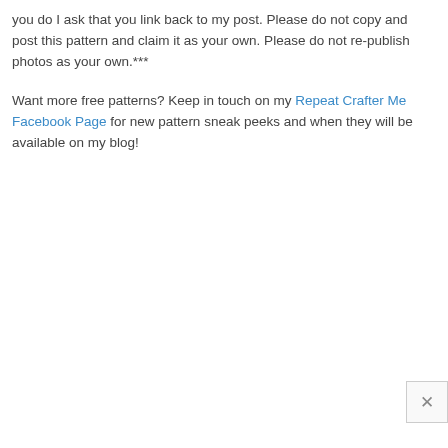you do I ask that you link back to my post. Please do not copy and post this pattern and claim it as your own. Please do not re-publish photos as your own.***
Want more free patterns? Keep in touch on my Repeat Crafter Me Facebook Page for new pattern sneak peeks and when they will be available on my blog!